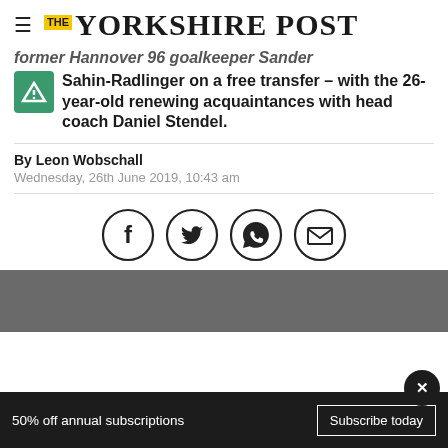THE YORKSHIRE POST
former Hannover 96 goalkeeper Sander Sahin-Radlinger on a free transfer – with the 26-year-old renewing acquaintances with head coach Daniel Stendel.
By Leon Wobschall
Wednesday, 26th June 2019, 10:43 am
[Figure (infographic): Social sharing icons: Facebook, Twitter, WhatsApp, Email]
50% off annual subscriptions
Subscribe today